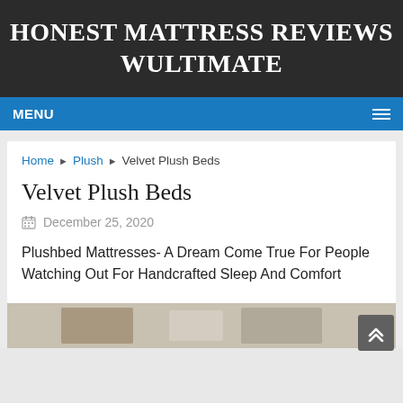HONEST MATTRESS REVIEWS WULTIMATE
MENU
Home ▶ Plush ▶ Velvet Plush Beds
Velvet Plush Beds
December 25, 2020
Plushbed Mattresses- A Dream Come True For People Watching Out For Handcrafted Sleep And Comfort
[Figure (photo): Partial view of a bed room or mattress product image at the bottom of the page]